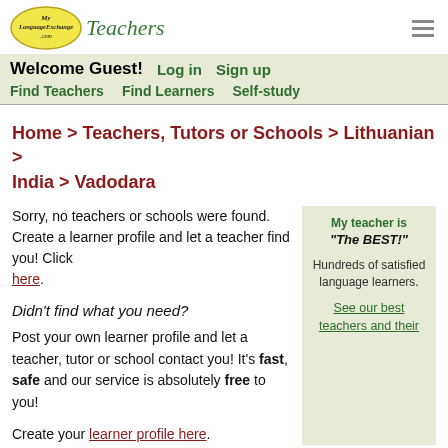[Figure (logo): MyLanguageExchange.com logo — yellow oval with cursive text — followed by italic green 'Teachers' text]
Welcome Guest!  Log in  Sign up
Find Teachers  Find Learners  Self-study
Home > Teachers, Tutors or Schools > Lithuanian > India > Vadodara
Sorry, no teachers or schools were found. Create a learner profile and let a teacher find you! Click here.
Didn't find what you need?
Post your own learner profile and let a teacher, tutor or school contact you! It's fast, safe and our service is absolutely free to you!
Create your learner profile here.
My teacher is "The BEST!" Hundreds of satisfied language learners. See our best teachers and their